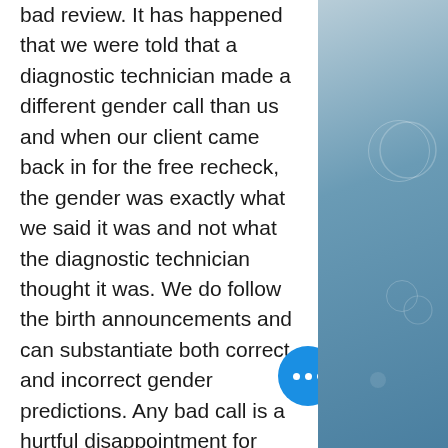bad review. It has happened that we were told that a diagnostic technician made a different gender call than us and when our client came back in for the free recheck, the gender was exactly what we said it was and not what the diagnostic technician thought it was. We do follow the birth announcements and can substantiate both correct and incorrect gender predictions. Any bad call is a hurtful disappointment for Womb With a View because we know that we have confused and possibly sadden our client. We take each and every scan as the most important one for that day. We do these scans as a labor of love, and not because it gives us a financial return. We truly take pride our customer service, our accuracy and